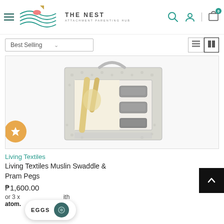THE NEST ATTACHMENT PARENTING HUB
Best Selling
[Figure (photo): Product photo of Living Textiles Muslin Swaddle & Pram Pegs in grey polka-dot box packaging with safari animal illustrations]
Living Textiles
Living Textiles Muslin Swaddle & Pram Pegs
₱1,600.00
or 3 x with atome.
EGGS